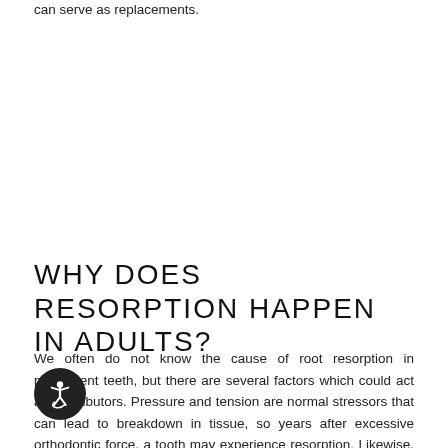can serve as replacements.
WHY DOES RESORPTION HAPPEN IN ADULTS?
We often do not know the cause of root resorption in permanent teeth, but there are several factors which could act as contributors. Pressure and tension are normal stressors that can lead to breakdown in tissue, so years after excessive orthodontic force, a tooth may experience resorption. Likewise, trauma to a tooth may